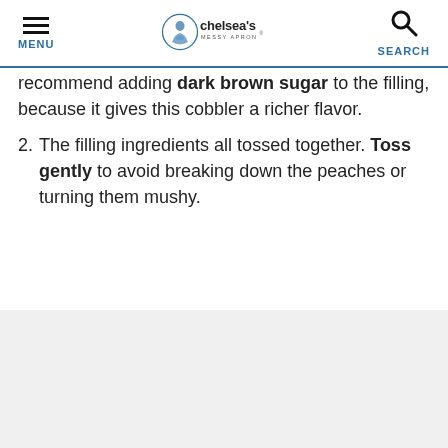MENU | chelsea's MESSY APRON® | SEARCH
recommend adding dark brown sugar to the filling, because it gives this cobbler a richer flavor.
2. The filling ingredients all tossed together. Toss gently to avoid breaking down the peaches or turning them mushy.
[Figure (photo): Light gray/white photo placeholder area at bottom of page]